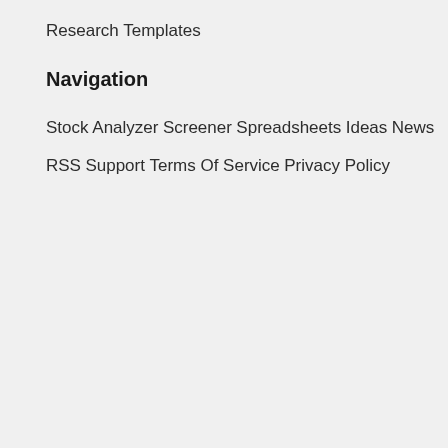Research
Templates
Navigation
Stock Analyzer
Screener
Spreadsheets
Ideas
News
RSS
Support
Terms Of Service
Privacy Policy